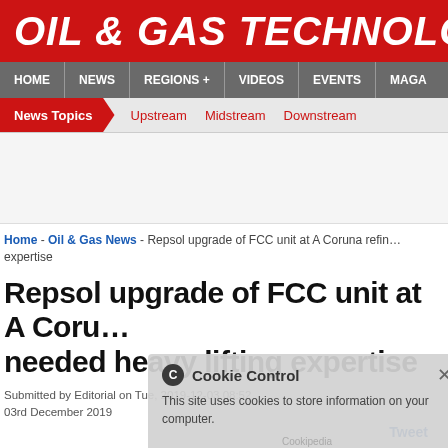OIL & GAS TECHNOLOG
HOME  NEWS  REGIONS +  VIDEOS  EVENTS  MAGA
News Topics  Upstream  Midstream  Downstream
Home - Oil & Gas News - Repsol upgrade of FCC unit at A Coruna refinery needed heavy lifting expertise
Repsol upgrade of FCC unit at A Coruna refinery needed heavy lifting expertise
Submitted by Editorial on Tue, 2019-12-03 08:52
03rd December 2019
Tweet
The Repsol refinery in A Coruña, Spain employs around 1,000 people and produces 120,000 barrels of oil per day,